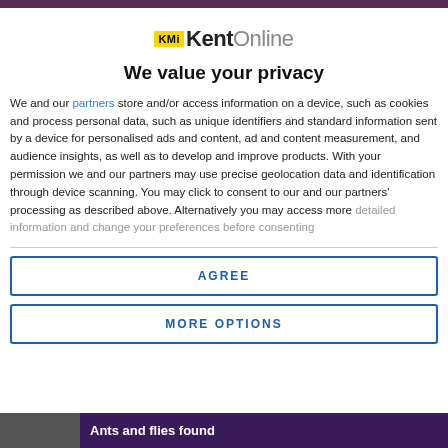[Figure (logo): KMi KentOnline logo with yellow KM badge and gray Online text]
We value your privacy
We and our partners store and/or access information on a device, such as cookies and process personal data, such as unique identifiers and standard information sent by a device for personalised ads and content, ad and content measurement, and audience insights, as well as to develop and improve products. With your permission we and our partners may use precise geolocation data and identification through device scanning. You may click to consent to our and our partners' processing as described above. Alternatively you may access more detailed information and change your preferences before consenting
AGREE
MORE OPTIONS
Ants and flies found